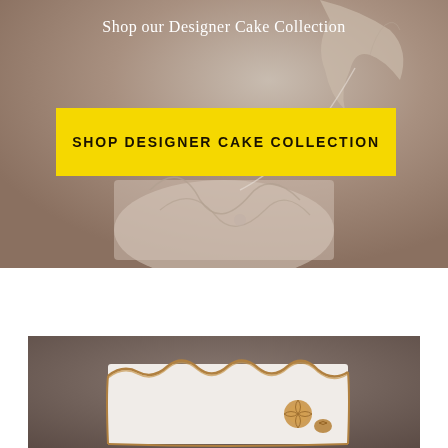[Figure (photo): Photographer's hand decorating a white designer cake with intricate line patterns, shot in muted warm tones]
Shop our Designer Cake Collection
SHOP DESIGNER CAKE COLLECTION
[Figure (photo): Close-up of a white cake with gold/bronze ruffled edges and golden floral embellishments on a dark gray background]